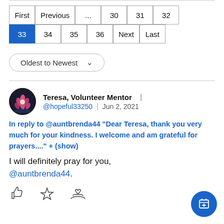[Figure (infographic): Pagination bar showing page navigation buttons: First, Previous, ..., 30, 31, 32, then second row: 33 (active/highlighted in blue), 34, 35, 36, Next, Last]
[Figure (other): Sort dropdown button labeled 'Oldest to Newest' with chevron down icon]
[Figure (other): User avatar: circular photo with pink flowers on dark background]
Teresa, Volunteer Mentor | @hopeful33250 | Jun 2, 2021
In reply to @auntbrenda44 "Dear Teresa, thank you very much for your kindness. I welcome and am grateful for prayers...." + (show)
I will definitely pray for you, @auntbrenda44.
[Figure (infographic): Action icons: thumbs up, star, hands/heart icon]